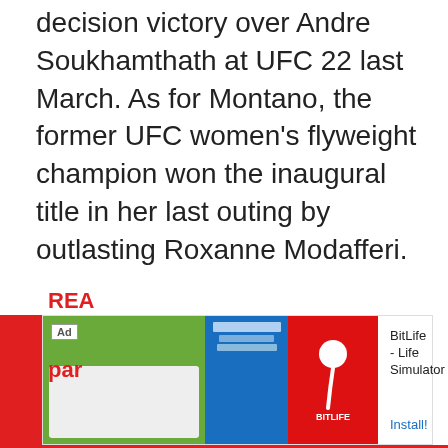decision victory over Andre Soukhamthath at UFC 22 last March. As for Montano, the former UFC women's flyweight champion won the inaugural title in her last outing by outlasting Roxanne Modafferi.
REA... par...
[Figure (screenshot): Mobile advertisement banner for BitLife - Life Simulator app with Ad label, colorful app icon images (green, blue, red panels), app name text and Install button]